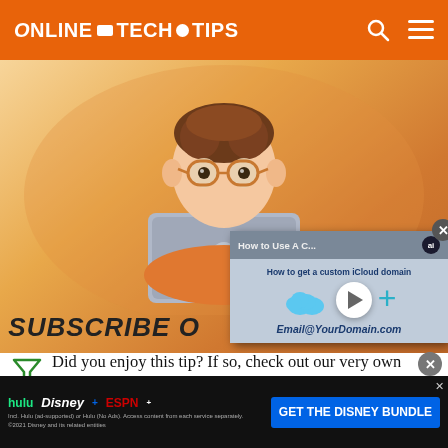ONLINE TECH TIPS
[Figure (illustration): Cartoon avatar of a person with brown hair and glasses peeking over a MacBook laptop, with an orange/warm gradient background. Overlaid video popup showing 'How to Use A C...' / 'How to get a custom iCloud domain' with iCloud+ logo and play button, and Email@YourDomain.com text.]
SUBSCRIBE O...
Did you enjoy this tip? If so, check out our very own YouTube channel where we cover Windows, Mac, software, and apps, and have a bunch of trou... the
[Figure (infographic): Disney Bundle advertisement banner showing Hulu, Disney+, and ESPN+ logos with 'GET THE DISNEY BUNDLE' call-to-action button. Fine print: Incl. Hulu (ad-supported) or Hulu (No Ads). Access content from each service separately. ©2021 Disney and its related entities]